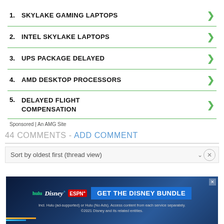1. SKYLAKE GAMING LAPTOPS
2. INTEL SKYLAKE LAPTOPS
3. UPS PACKAGE DELAYED
4. AMD DESKTOP PROCESSORS
5. DELAYED FLIGHT COMPENSATION
Sponsored | An AMG Site
44 COMMENTS - ADD COMMENT
Sort by oldest first (thread view)
[Figure (screenshot): Hulu Disney+ ESPN+ GET THE DISNEY BUNDLE advertisement banner. Incl. Hulu (ad-supported) or Hulu (No Ads). Access content from each service separately. ©2021 Disney and its related entities.]